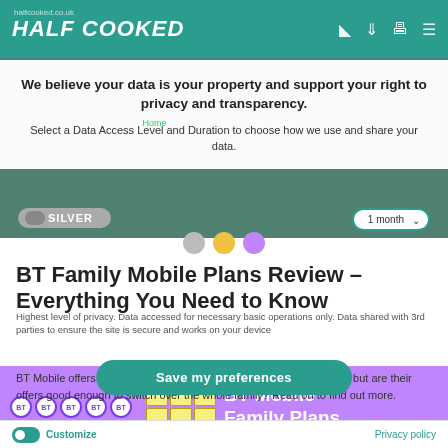HALF COOKED
[Figure (screenshot): Privacy consent overlay on halfcooked.co.uk website showing BT Family Mobile Plans Review article underneath. Contains: nav bar with Half Cooked logo, privacy modal with 'We believe your data is your property and support your right to privacy and transparency. Select a Data Access Level and Duration to choose how we use and share your data.', Silver data level toggle, 1 month selector, article title 'BT Family Mobile Plans Review – Everything You Need to Know', article intro text, 'Save my preferences' button, BT Mobile Family Plans promo banner, and bottom Customize/Privacy policy bar.]
BT Family Mobile Plans Review – Everything You Need to Know
BT Mobile offers some of the best family mobile plans on the market, but are their offers good enough to switch over the whole family? Read on to find out more.